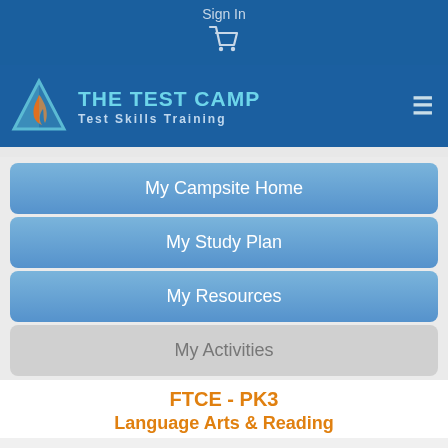Sign In
[Figure (logo): Shopping cart icon]
[Figure (logo): The Test Camp logo - triangle with flame, text: THE TEST CAMP, Test Skills Training]
My Campsite Home
My Study Plan
My Resources
My Activities
FTCE - PK3
Language Arts & Reading